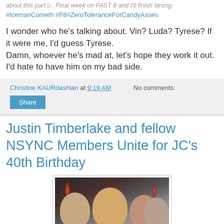about this part☺. Final week on FAST 8 and I'll finish strong.
#IcemanCometh #F8#ZeroToleranceForCandyAsses
I wonder who he's talking about. Vin? Luda? Tyrese? If it were me, I'd guess Tyrese.
Damn, whoever he's mad at, let's hope they work it out. I'd hate to have him on my bad side.
Christine KAURdashian at 9:19 AM    No comments:
Share
Justin Timberlake and fellow NSYNC Members Unite for JC's 40th Birthday
[Figure (photo): Group photo of several people at a party, likely NSYNC members celebrating JC's 40th birthday]